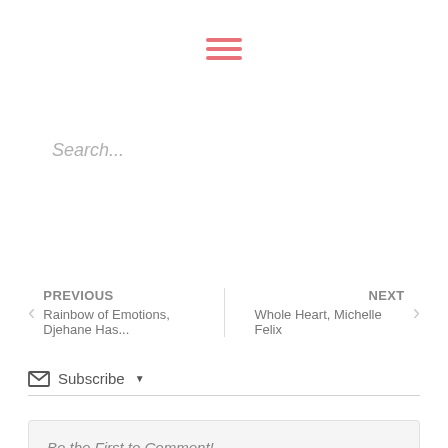[Figure (other): Hamburger menu icon with three horizontal pink/salmon colored bars]
Search...
< PREVIOUS
Rainbow of Emotions, Djehane Has...
NEXT >
Whole Heart, Michelle Felix
✉ Subscribe ▼
Be the First to Comment!